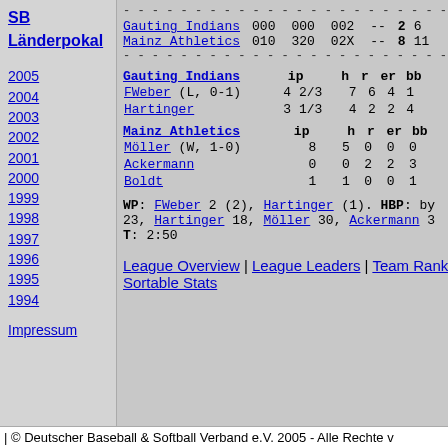SB Länderpokal
2005
2004
2003
2002
2001
2000
1999
1998
1997
1996
1995
1994
Impressum
| Team | 000 | 000 | 002 | -- | R | H |
| --- | --- | --- | --- | --- | --- | --- |
| Gauting Indians | 000 | 000 | 002 | -- | 2 | 6 |
| Mainz Athletics | 010 | 320 | 02X | -- | 8 | 11 |
| Gauting Indians | ip | h | r | er | bb |
| --- | --- | --- | --- | --- | --- |
| FWeber (L, 0-1) | 4 2/3 | 7 | 6 | 4 | 1 |
| Hartinger | 3 1/3 | 4 | 2 | 2 | 4 |
| Mainz Athletics | ip | h | r | er | bb |
| --- | --- | --- | --- | --- | --- |
| Möller (W, 1-0) | 8 | 5 | 0 | 0 | 0 |
| Ackermann | 0 | 0 | 2 | 2 | 3 |
| Boldt | 1 | 1 | 0 | 0 | 1 |
WP: FWeber 2 (2), Hartinger (1). HBP: by 23, Hartinger 18, Möller 30, Ackermann 3 T: 2:50
League Overview | League Leaders | Team Rank Sortable Stats
| © Deutscher Baseball & Softball Verband e.V. 2005 - Alle Rechte v